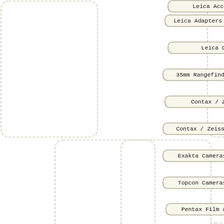[Figure (flowchart): A hierarchical mind-map / tree diagram showing camera categories. Nodes include: Leica Accessories (partial, top), Leica Adapters Filters Cases, Leica Copies, 35mm Rangefinder Film Came(ras), Contax / Zeiss SLR, Contax / Zeiss Rangefinder, Exakta Cameras and Lenses, Topcon Cameras and Lenses, Pentax Film and Digital, Olympus Film and Digital, Large Format Cameras, Arca-Swiss Film and Digital, Cambo Film and Digital, Silvestri Film and Digital, Sinar Digital Cameras, Sinar Digital Lenses, Sinar Film Cameras, Linhof Cameras and Lenses, Linhof Accessories, Graflex Cameras and Lenses, Large Format Lenses. Connected by dotted-line rounded rectangles as branch groupings.]